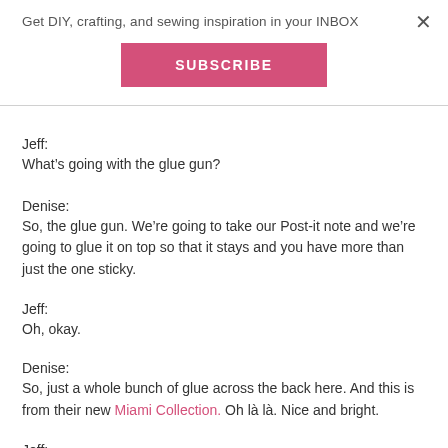Get DIY, crafting, and sewing inspiration in your INBOX
SUBSCRIBE
Jeff:
What's going with the glue gun?
Denise:
So, the glue gun. We're going to take our Post-it note and we're going to glue it on top so that it stays and you have more than just the one sticky.
Jeff:
Oh, okay.
Denise:
So, just a whole bunch of glue across the back here. And this is from their new Miami Collection. Oh là là. Nice and bright.
Jeff: